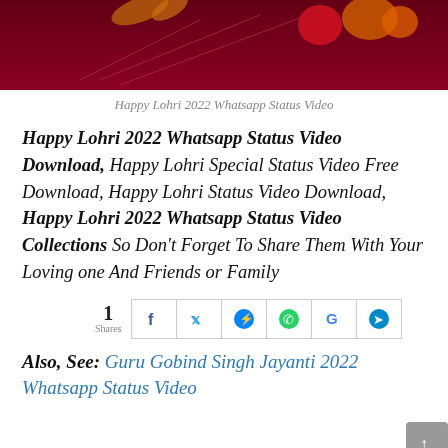[Figure (photo): Happy Lohri 2022 themed image with dark red/maroon background, decorative elements including leaves and food items]
Happy Lohri 2022 Whatsapp Status Video
Happy Lohri 2022 Whatsapp Status Video Download, Happy Lohri Special Status Video Free Download, Happy Lohri Status Video Download, Happy Lohri 2022 Whatsapp Status Video Collections So Don’t Forget To Share Them With Your Loving one And Friends or Family
1 Shares [social share buttons: Facebook, Twitter, Messenger, WhatsApp, Google, Telegram]
Also, See: Guru Gobind Singh Jayanti 2022 Whatsapp Status Video